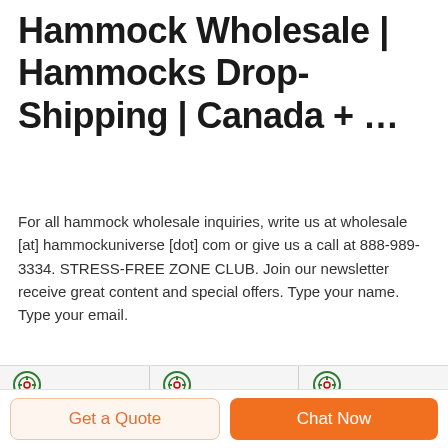Hammock Wholesale | Hammocks Drop-Shipping | Canada + ...
For all hammock wholesale inquiries, write us at wholesale [at] hammockuniverse [dot] com or give us a call at 888-989-3334. STRESS-FREE ZONE CLUB. Join our newsletter receive great content and special offers. Type your name. Type your email.
[Figure (photo): Three product cards with DEEKON logo. Left: military jacket in olive/dark green. Center: camouflage tactical face mask with goggles. Right: camouflage tactical belt.]
Get a Quote
Chat Now